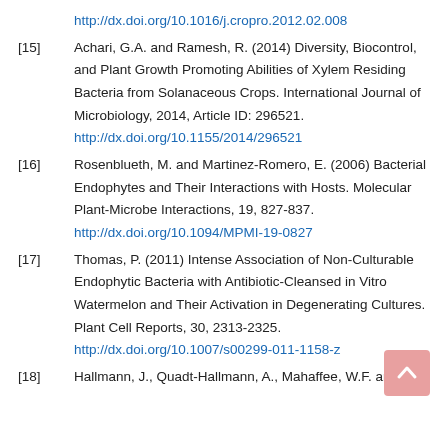http://dx.doi.org/10.1016/j.cropro.2012.02.008
[15] Achari, G.A. and Ramesh, R. (2014) Diversity, Biocontrol, and Plant Growth Promoting Abilities of Xylem Residing Bacteria from Solanaceous Crops. International Journal of Microbiology, 2014, Article ID: 296521. http://dx.doi.org/10.1155/2014/296521
[16] Rosenblueth, M. and Martinez-Romero, E. (2006) Bacterial Endophytes and Their Interactions with Hosts. Molecular Plant-Microbe Interactions, 19, 827-837. http://dx.doi.org/10.1094/MPMI-19-0827
[17] Thomas, P. (2011) Intense Association of Non-Culturable Endophytic Bacteria with Antibiotic-Cleansed in Vitro Watermelon and Their Activation in Degenerating Cultures. Plant Cell Reports, 30, 2313-2325. http://dx.doi.org/10.1007/s00299-011-1158-z
[18] Hallmann, J., Quadt-Hallmann, A., Mahaffee, W.F. and